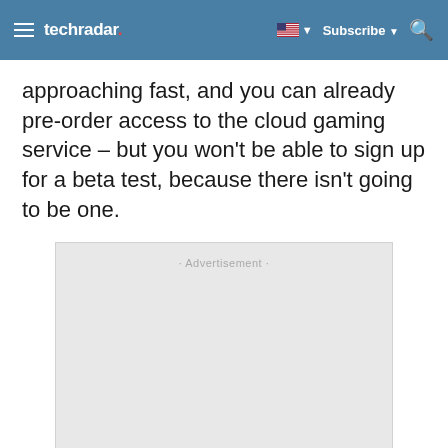techradar — Subscribe
approaching fast, and you can already pre-order access to the cloud gaming service – but you won't be able to sign up for a beta test, because there isn't going to be one.
[Figure (other): Advertisement placeholder box with label 'Advertisement']